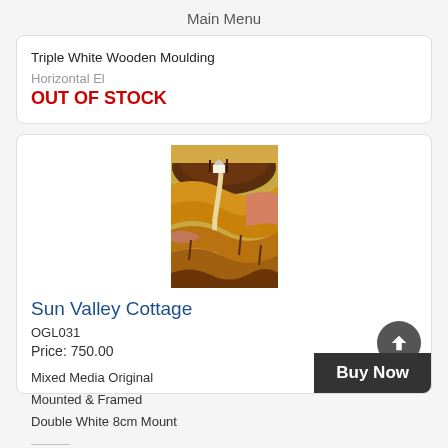Main Menu
Triple White Wooden Moulding
OUT OF STOCK
[Figure (photo): Painting of Sun Valley Cottage — an aerial view of a winding path through golden fields leading to a cottage at the base of a dark hill, mixed media artwork in warm yellows, oranges and browns]
Sun Valley Cottage
OGL031
Price: 750.00
Mixed Media Original
Mounted & Framed
Double White 8cm Mount
Buy Now